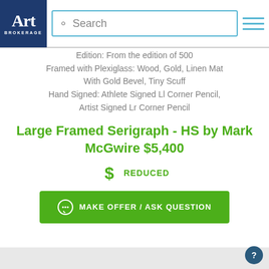[Figure (screenshot): Art Brokerage website header with logo, search bar, and hamburger menu]
Edition: From the edition of 500
Framed with Plexiglass: Wood, Gold, Linen Mat
With Gold Bevel, Tiny Scuff
Hand Signed: Athlete Signed Ll Corner Pencil, Artist Signed Lr Corner Pencil
Large Framed Serigraph - HS by Mark McGwire $5,400
REDUCED
MAKE OFFER / ASK QUESTION